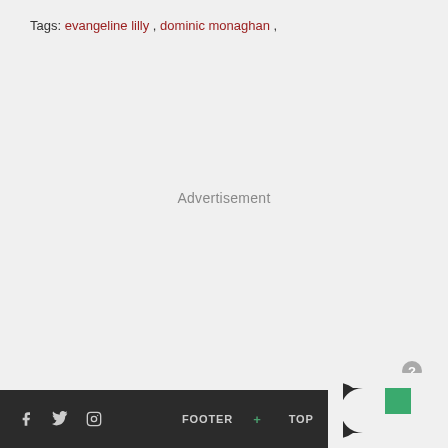Tags: evangeline lilly , dominic monaghan ,
Advertisement
f  Twitter  Instagram  FOOTER +  TOP ^